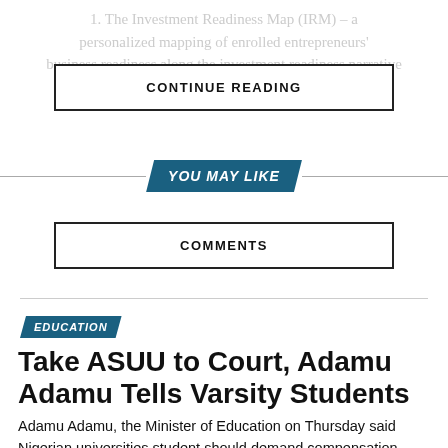1. The Investment Readiness Map (IRM) – a personalized mapping of enrolled entrepreneurs' business readiness along the investment readiness narrative
CONTINUE READING
YOU MAY LIKE
COMMENTS
EDUCATION
Take ASUU to Court, Adamu Adamu Tells Varsity Students
Adamu Adamu, the Minister of Education on Thursday said Nigerian universities student should demand compensation from